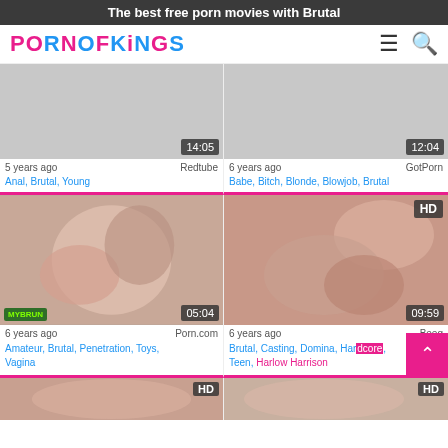The best free porn movies with Brutal
[Figure (logo): PornOfKings logo with pink and blue lettering]
[Figure (screenshot): Video thumbnail placeholder grey, duration 14:05, 5 years ago, Redtube, tags: Anal, Brutal, Young]
[Figure (screenshot): Video thumbnail placeholder grey, duration 12:04, 6 years ago, GotPorn, tags: Babe, Bitch, Blonde, Blowjob, Brutal]
[Figure (screenshot): Video thumbnail adult content, duration 05:04, 6 years ago, Porn.com, tags: Amateur, Brutal, Penetration, Toys, Vagina]
[Figure (screenshot): Video thumbnail adult content HD, duration 09:59, 6 years ago, Beeg, tags: Brutal, Casting, Domina, Hardcore, Teen, Harlow Harrison]
[Figure (screenshot): Video thumbnail partial visible at bottom left with HD badge]
[Figure (screenshot): Video thumbnail partial visible at bottom right with HD badge]